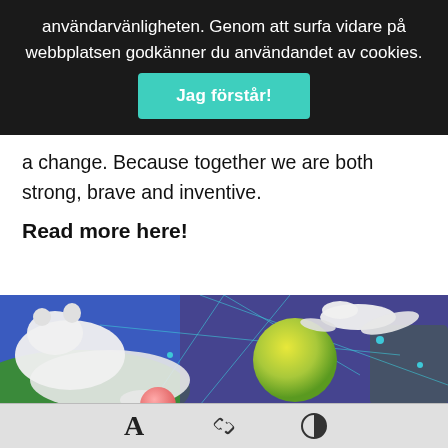användarvänligheten. Genom att surfa vidare på webbplatsen godkänner du användandet av cookies. Jag förstår!
a change. Because together we are both strong, brave and inventive.
Read more here!
[Figure (illustration): Collage illustration showing a polar bear and a seabird on a colorful background of a world map in blue and green tones, with a yellow-green gradient sphere]
Toolbar with font, link, and contrast icons